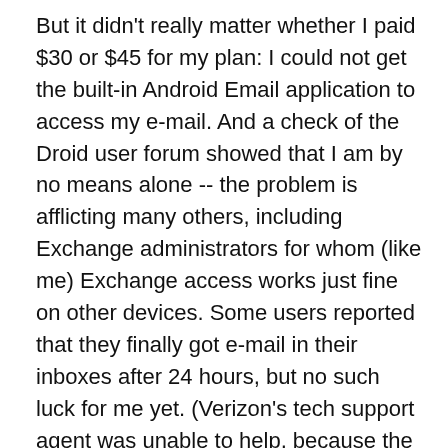But it didn't really matter whether I paid $30 or $45 for my plan: I could not get the built-in Android Email application to access my e-mail. And a check of the Droid user forum showed that I am by no means alone -- the problem is afflicting many others, including Exchange administrators for whom (like me) Exchange access works just fine on other devices. Some users reported that they finally got e-mail in their inboxes after 24 hours, but no such luck for me yet. (Verizon's tech support agent was unable to help, because the support documents had no recommendations. Motorola's agent was one of the mosty clueless support agents I've ever encountered, and unable to help.)